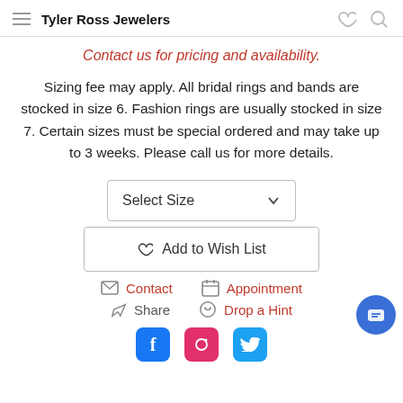Tyler Ross Jewelers
Contact us for pricing and availability.
Sizing fee may apply. All bridal rings and bands are stocked in size 6. Fashion rings are usually stocked in size 7. Certain sizes must be special ordered and may take up to 3 weeks. Please call us for more details.
Select Size
Add to Wish List
Contact  Appointment
Share  Drop a Hint